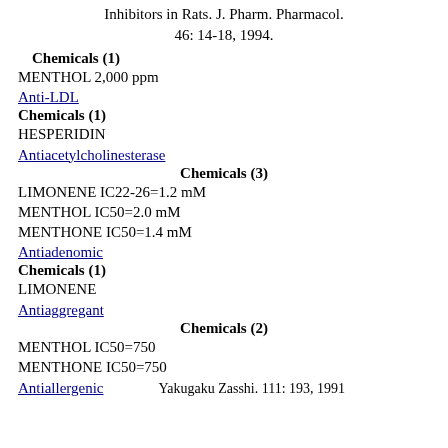Inhibitors in Rats. J. Pharm. Pharmacol. 46: 14-18, 1994.
Chemicals (1)
MENTHOL 2,000 ppm
Anti-LDL
Chemicals (1)
HESPERIDIN
Antiacetylcholinesterase
Chemicals (3)
LIMONENE IC22-26=1.2 mM
MENTHOL IC50=2.0 mM
MENTHONE IC50=1.4 mM
Antiadenomic
Chemicals (1)
LIMONENE
Antiaggregant
Chemicals (2)
MENTHOL IC50=750
MENTHONE IC50=750
Antiallergenic    Yakugaku Zasshi. 111: 193, 1991